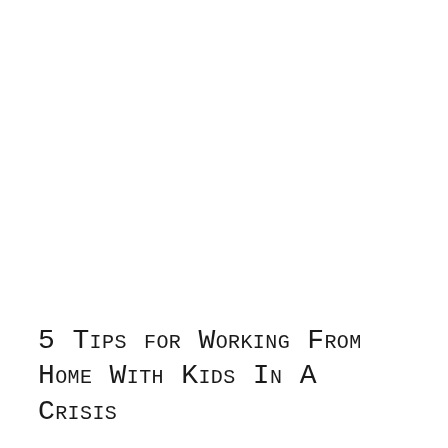5 Tips for Working From Home With Kids In A Crisis